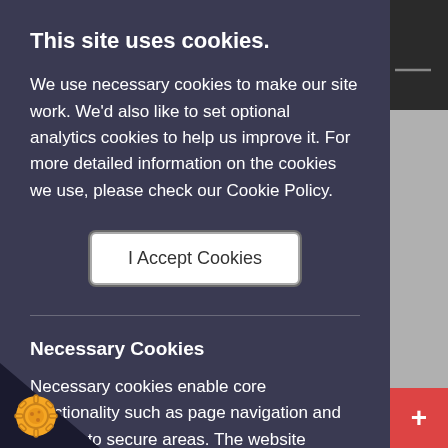This site uses cookies.
We use necessary cookies to make our site work. We'd also like to set optional analytics cookies to help us improve it. For more detailed information on the cookies we use, please check our Cookie Policy.
I Accept Cookies
Necessary Cookies
Necessary cookies enable core functionality such as page navigation and access to secure areas. The website cannot function properly without these cookies and can only be disabled by